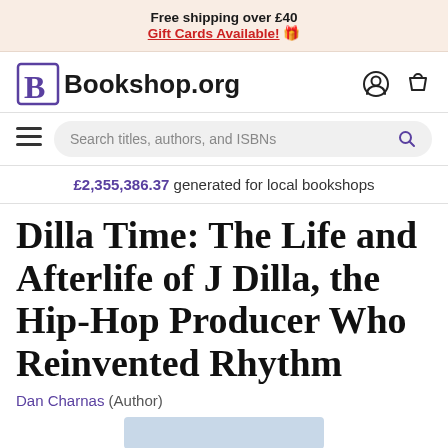Free shipping over £40
Gift Cards Available! 🎁
[Figure (logo): Bookshop.org logo with stylized B in purple and nav icons]
[Figure (screenshot): Search bar with placeholder text 'Search titles, authors, and ISBNs' and hamburger menu]
£2,355,386.37 generated for local bookshops
Dilla Time: The Life and Afterlife of J Dilla, the Hip-Hop Producer Who Reinvented Rhythm
Dan Charnas (Author)